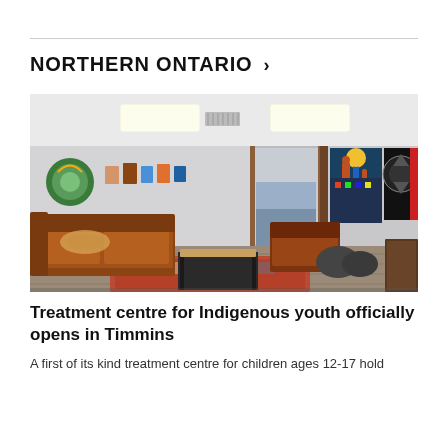NORTHERN ONTARIO >
[Figure (photo): Interior of an Indigenous youth treatment centre showing a common room with brown leather sofas, a coffee table on a patterned rug, Indigenous artwork and tapestries on the walls, and bean bag chairs.]
Treatment centre for Indigenous youth officially opens in Timmins
A first of its kind treatment centre for children ages 12-17 hold